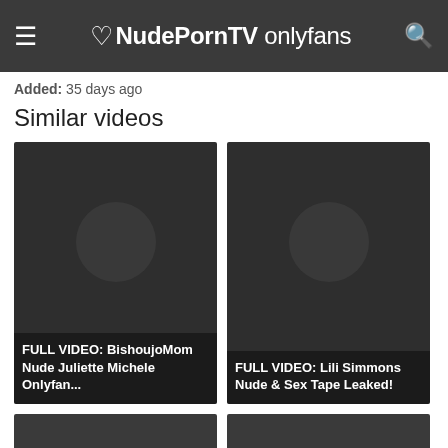NudePornTV onlyfans
Added: 35 days ago
Similar videos
[Figure (screenshot): Video thumbnail with dark background and overlay text: FULL VIDEO: BishoujoMom Nude Juliette Michele Onlyfan...]
[Figure (screenshot): Video thumbnail with dark background and overlay text: FULL VIDEO: Lili Simmons Nude & Sex Tape Leaked!]
[Figure (screenshot): Partially visible video thumbnail at bottom left]
[Figure (screenshot): Partially visible video thumbnail at bottom right]